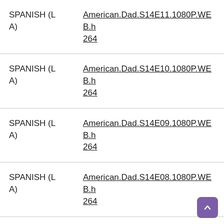| Language | File |
| --- | --- |
| SPANISH (LA) | American.Dad.S14E11.1080P.WEB.h264 |
| SPANISH (LA) | American.Dad.S14E10.1080P.WEB.h264 |
| SPANISH (LA) | American.Dad.S14E09.1080P.WEB.h264 |
| SPANISH (LA) | American.Dad.S14E08.1080P.WEB.h264 |
| SPANISH (LA) | American.Dad.S14E07.1080P.WEB.h264 |
| SPANISH (L | American.Dad.S14E06.1080P.WEB.h |